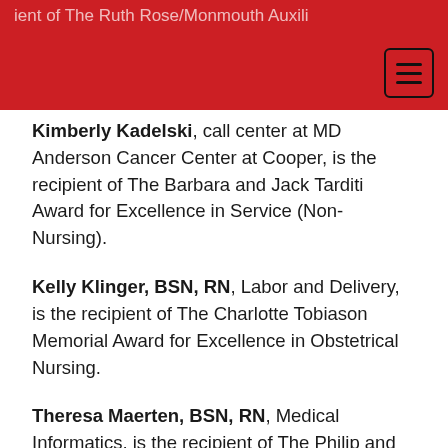…ient of The Ruth Rose/Monmouth Auxiliary
Kimberly Kadelski, call center at MD Anderson Cancer Center at Cooper, is the recipient of The Barbara and Jack Tarditi Award for Excellence in Service (Non-Nursing).
Kelly Klinger, BSN, RN, Labor and Delivery, is the recipient of The Charlotte Tobiason Memorial Award for Excellence in Obstetrical Nursing.
Theresa Maerten, BSN, RN, Medical Informatics, is the recipient of The Philip and Carole Norcross Award for Nurse Leadership.